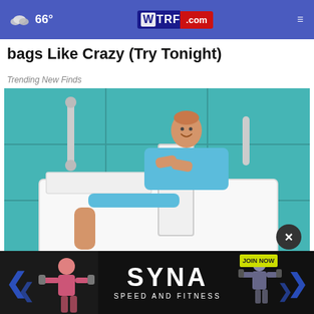66° WTRF.com
bags Like Crazy (Try Tonight)
Trending New Finds
[Figure (photo): Woman in blue outfit sitting in a walk-in bathtub in a teal-tiled bathroom, smiling at camera with legs extended out of the tub. White tub with chrome grab bars visible.]
Tho... k-
in T...
[Figure (photo): Advertisement banner for SYNA Speed and Fitness. Left side shows a woman weightlifter. Center shows SYNA logo with SPEED AND FITNESS text. Right side shows a man with weights and JOIN NOW button.]